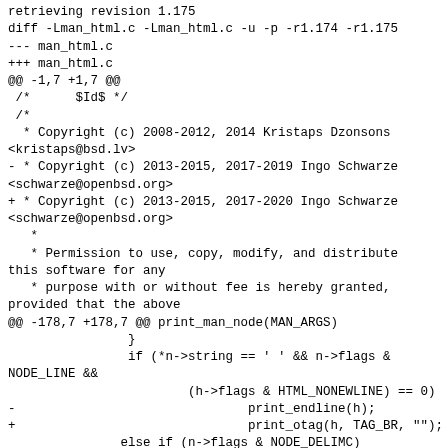retrieving revision 1.175
diff -Lman_html.c -Lman_html.c -u -p -r1.174 -r1.175
--- man_html.c
+++ man_html.c
@@ -1,7 +1,7 @@
 /*      $Id$ */
 /*
  * Copyright (c) 2008-2012, 2014 Kristaps Dzonsons
<kristaps@bsd.lv>
-  * Copyright (c) 2013-2015, 2017-2019 Ingo Schwarze
<schwarze@openbsd.org>
+  * Copyright (c) 2013-2015, 2017-2020 Ingo Schwarze
<schwarze@openbsd.org>
  *
  * Permission to use, copy, modify, and distribute
this software for any
  * purpose with or without fee is hereby granted,
provided that the above
@@ -178,7 +178,7 @@ print_man_node(MAN_ARGS)
                }
                if (*n->string == ' ' && n->flags &
NODE_LINE &&
                        (h->flags & HTML_NONEWLINE) == 0)
-                               print_endline(h);
+                               print_otag(h, TAG_BR, "");
                else if (n->flags & NODE_DELIMC)
                        h->flags |= HTML_NOSPACE;
                t = h->tag;

--
 To unsubscribe send an email to